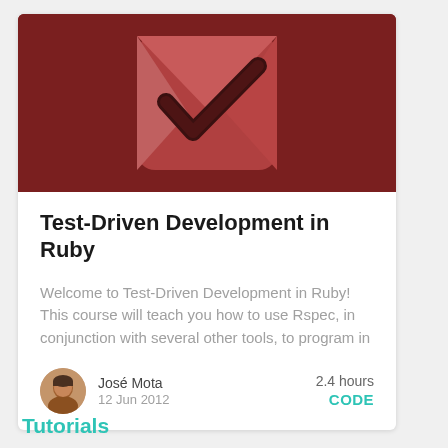[Figure (illustration): Dark red/maroon background with a stylized checkmark icon on a rounded square envelope shape, rendered in shades of red and salmon/pink]
Test-Driven Development in Ruby
Welcome to Test-Driven Development in Ruby! This course will teach you how to use Rspec, in conjunction with several other tools, to program in
José Mota
12 Jun 2012
2.4 hours
CODE
Tutorials